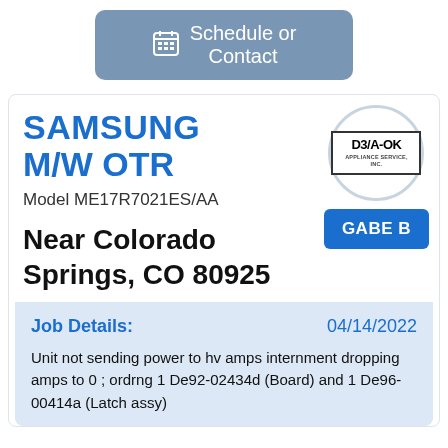[Figure (other): Schedule or Contact button with calendar icon]
SAMSUNG M/W OTR
[Figure (logo): D3/A-OK Appliance Service Inc logo inside a circle]
Model ME17R7021ES/AA
[Figure (other): GABE B technician button]
Near Colorado Springs, CO 80925
Job Details:
04/14/2022
Unit not sending power to hv amps internment dropping amps to 0 ; ordrng 1 De92-02434d (Board) and 1 De96-00414a (Latch assy)